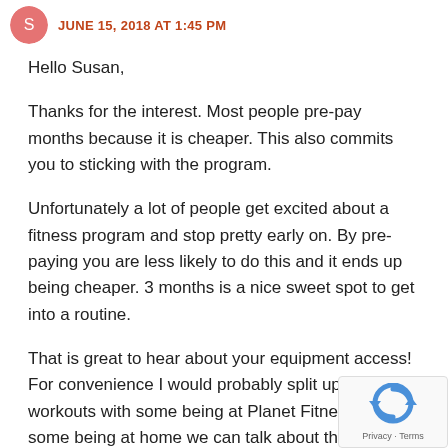JUNE 15, 2018 AT 1:45 PM
Hello Susan,
Thanks for the interest. Most people pre-pay months because it is cheaper. This also commits you to sticking with the program.
Unfortunately a lot of people get excited about a fitness program and stop pretty early on. By pre-paying you are less likely to do this and it ends up being cheaper. 3 months is a nice sweet spot to get into a routine.
That is great to hear about your equipment access! For convenience I would probably split up your workouts with some being at Planet Fitness and some being at home we can talk about that further. I look forward to possibly working with you!